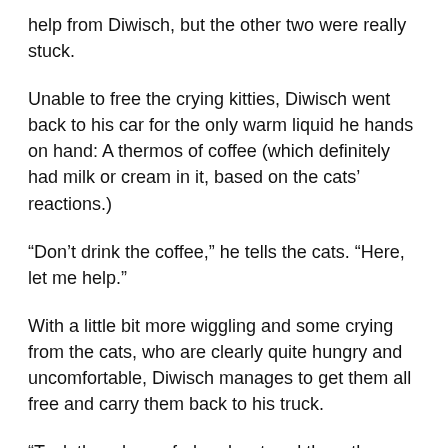help from Diwisch, but the other two were really stuck.
Unable to free the crying kitties, Diwisch went back to his car for the only warm liquid he hands on hand: A thermos of coffee (which definitely had milk or cream in it, based on the cats' reactions.)
“Don’t drink the coffee,” he tells the cats. “Here, let me help.”
With a little bit more wiggling and some crying from the cats, who are clearly quite hungry and uncomfortable, Diwisch manages to get them all free and carry them back to his truck.
“Took them home fed and watered them they look to be healthy and friendly,” wrote on Diwisch of the cats on Facebook when sharing his video, which has been viewed